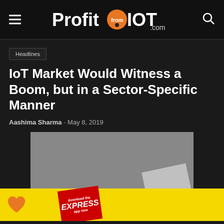ProfitfromIOT.com
Headlines
IoT Market Would Witness a Boom, but in a Sector-Specific Manner
Aashima Sharma - May 8, 2019
[Figure (photo): Grey placeholder image with a newspaper corner showing stylized text, overlaid by a yellow advertisement banner with a heart icon and Express magazine badge]